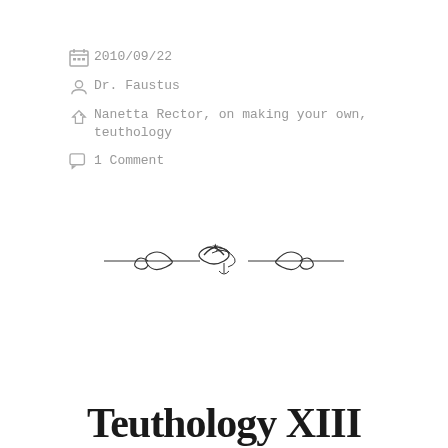2010/09/22
Dr. Faustus
Nanetta Rector, on making your own, teuthology
1 Comment
[Figure (illustration): Decorative ornamental divider with swirling scroll and flourish design, centered on the page]
Teuthology XIII